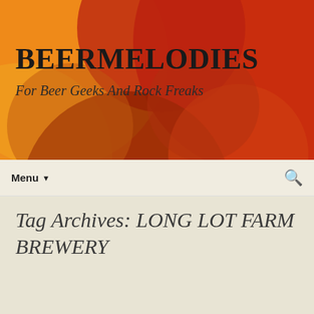[Figure (illustration): Abstract colorful header banner with overlapping circles and shapes in orange, red, dark red, and yellow tones forming a decorative background]
BEERMELODIES
For Beer Geeks And Rock Freaks
Menu ▾
Tag Archives: LONG LOT FARM BREWERY